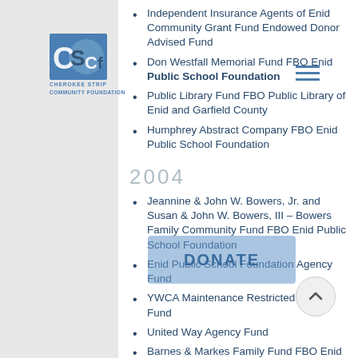[Figure (logo): Cherokee Strip Community Foundation logo — letters CSCf in blue square with circle, text below reads CHEROKEE STRIP COMMUNITY FOUNDATION]
Independent Insurance Agents of Enid Community Grant Fund Endowed Donor Advised Fund
Don Westfall Memorial Fund FBO Enid Public School Foundation
Public Library Fund FBO Public Library of Enid and Garfield County
Humphrey Abstract Company FBO Enid Public School Foundation
2004
Jeannine & John W. Bowers, Jr. and Susan & John W. Bowers, III – Bowers Family Community Fund FBO Enid Public School Foundation
Enid Public School Foundation Agency Fund
YWCA Maintenance Restricted Agency Fund
United Way Agency Fund
Barnes & Markes Family Fund FBO Enid Public School Foundation